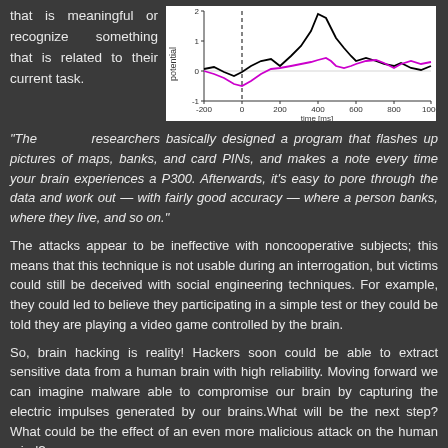that is meaningful or recognize something that is related to their current task.
[Figure (continuous-plot): EEG P300 waveform chart showing potential (y-axis, range -1 to 2) vs time in ms (x-axis, range -200 to 1000). Two lines: black line showing a sharp peak around 400ms, and magenta/pink line showing a lower amplitude waveform. A vertical dashed line marks 0ms.]
“The researchers basically designed a program that flashes up pictures of maps, banks, and card PINs, and makes a note every time your brain experiences a P300. Afterwards, it’s easy to pore through the data and work out — with fairly good accuracy — where a person banks, where they live, and so on.”
The attacks appear to be ineffective with noncooperative subjects; this means that this technique is not usable during an interrogation, but victims could still be deceived with social engineering techniques. For example, they could led to believe they participating in a simple test or they could be told they are playing a video game controlled by the brain.
So, brain hacking is reality! Hackers soon could be able to extract sensitive data from a human brain with high reliability. Moving forward we can imagine malware able to compromise our brain by capturing the electric impulses generated by our brains.What will be the next step? What could be the effect of an even more malicious attack on the human mind?